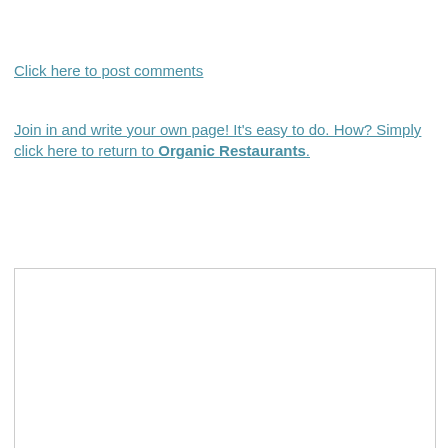Click here to post comments
Join in and write your own page! It's easy to do. How? Simply click here to return to Organic Restaurants.
[Figure (other): Empty white box with border, likely an embedded content area or advertisement placeholder]